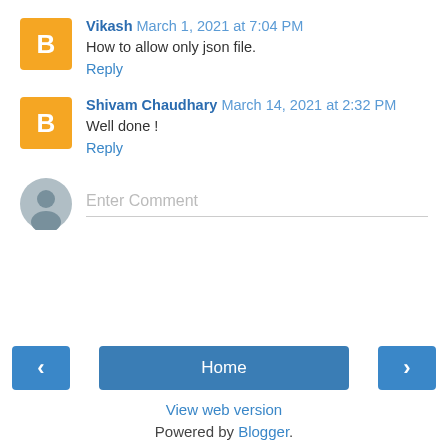Vikash  March 1, 2021 at 7:04 PM
How to allow only json file.
Reply
Shivam Chaudhary  March 14, 2021 at 2:32 PM
Well done !
Reply
Enter Comment
‹
Home
›
View web version
Powered by Blogger.